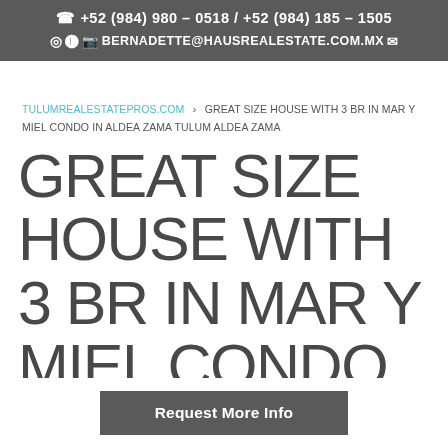☎ +52 (984) 980 - 0518 / +52 (984) 185 - 1505 | BERNADETTE@HAUSREALESTATE.COM.MX
TULUMREALESTATEPROS.COM › GREAT SIZE HOUSE WITH 3 BR IN MAR Y MIEL CONDO IN ALDEA ZAMA TULUM ALDEA ZAMA
GREAT SIZE HOUSE WITH 3 BR IN MAR Y MIEL CONDO IN ALDEA ZAMA TULUM
Request More Info